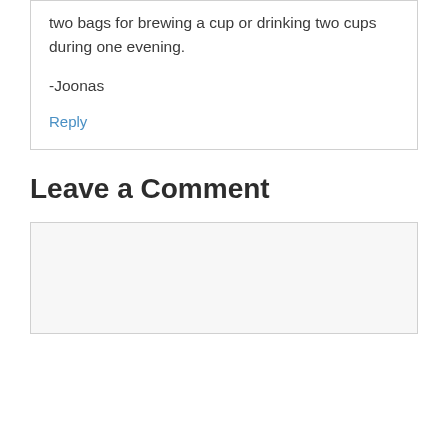two bags for brewing a cup or drinking two cups during one evening.
-Joonas
Reply
Leave a Comment